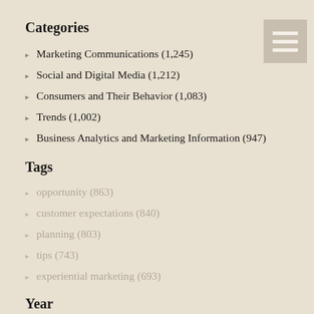Categories
Marketing Communications (1,245)
Social and Digital Media (1,212)
Consumers and Their Behavior (1,083)
Trends (1,002)
Business Analytics and Marketing Information (947)
Tags
opportunity (863)
customer expectations (840)
planning (803)
tips (743)
experiential marketing (693)
Year
2022 (48)
2021 (180)
2020 (228)